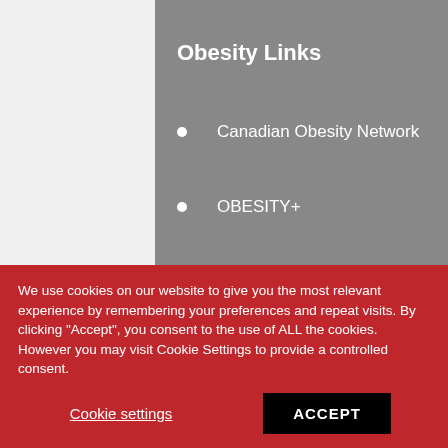Obesity Links
Canadian Obesity Network
OBESITY+
Pre-OBESITY+
Weight Wise
Weighty Matters
We use cookies on our website to give you the most relevant experience by remembering your preferences and repeat visits. By clicking "Accept", you consent to the use of ALL the cookies. However you may visit Cookie Settings to provide a controlled consent.
Cookie settings
ACCEPT